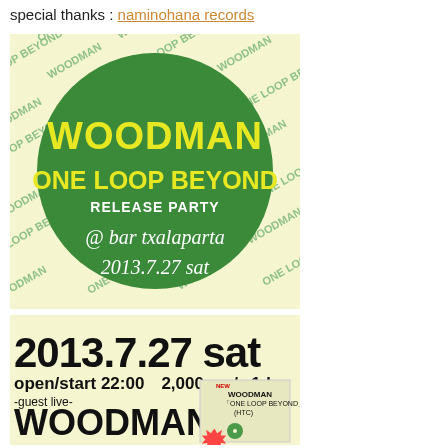special thanks : naminohana records
[Figure (illustration): WOODMAN ONE LOOP BEYOND RELEASE PARTY @ bar txalaparta 2013.7.27 sat — event flyer with green circle on cream background with repeated text pattern]
[Figure (illustration): 2013.7.27 sat open/start 22:00 2,000yen/w1d -guest live- WOODMAN event details flyer with album art]